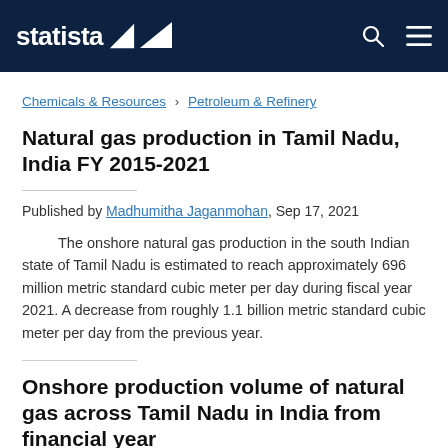statista
Chemicals & Resources › Petroleum & Refinery
Natural gas production in Tamil Nadu, India FY 2015-2021
Published by Madhumitha Jaganmohan, Sep 17, 2021
The onshore natural gas production in the south Indian state of Tamil Nadu is estimated to reach approximately 696 million metric standard cubic meter per day during fiscal year 2021. A decrease from roughly 1.1 billion metric standard cubic meter per day from the previous year.
Onshore production volume of natural gas across Tamil Nadu in India from financial year